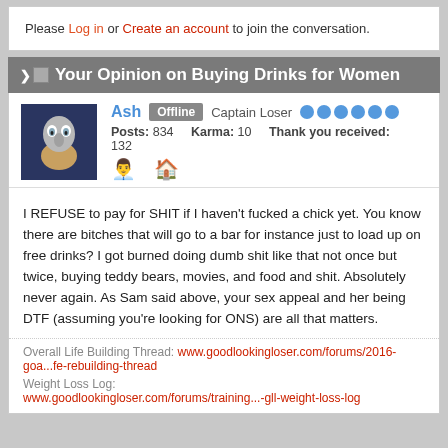Please Log in or Create an account to join the conversation.
Your Opinion on Buying Drinks for Women
Ash   Offline   Captain Loser
Posts: 834   Karma: 10   Thank you received: 132
I REFUSE to pay for SHIT if I haven't fucked a chick yet. You know there are bitches that will go to a bar for instance just to load up on free drinks? I got burned doing dumb shit like that not once but twice, buying teddy bears, movies, and food and shit. Absolutely never again. As Sam said above, your sex appeal and her being DTF (assuming you're looking for ONS) are all that matters.
Overall Life Building Thread: www.goodlookingloser.com/forums/2016-goa...fe-rebuilding-thread
Weight Loss Log:
www.goodlookingloser.com/forums/training...-gll-weight-loss-log